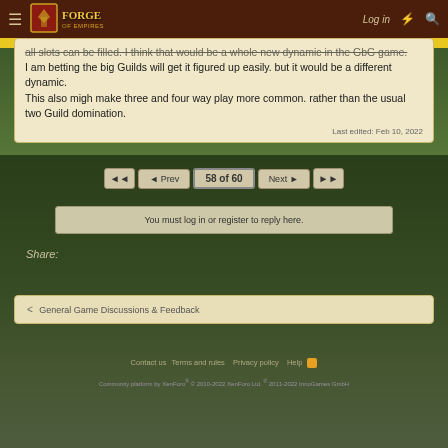Forge of Empires — Log in
all slots can be filled. I think that would be a whole new dynamic in the GbG game.
I am betting the big Guilds will get it figured up easily. but it would be a different dynamic.
This also migh make three and four way play more common. rather than the usual two Guild domination.
Last edited: Feb 10, 2022
◄◄  ◄ Prev  58 of 60  Next ►  ►►
You must log in or register to reply here.
Share:
< General Game Discussions & Feedback
Contact us   Terms and rules   Privacy policy   Help   Community platform by XenForo® © 2010-2022 XenForo Ltd. ® 2011-2022 InnoGames GmbH